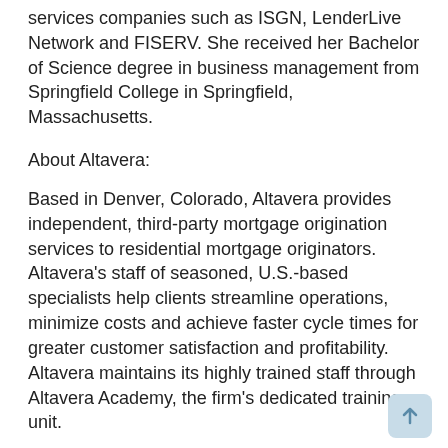services companies such as ISGN, LenderLive Network and FISERV. She received her Bachelor of Science degree in business management from Springfield College in Springfield, Massachusetts.
About Altavera:
Based in Denver, Colorado, Altavera provides independent, third-party mortgage origination services to residential mortgage originators. Altavera's staff of seasoned, U.S.-based specialists help clients streamline operations, minimize costs and achieve faster cycle times for greater customer satisfaction and profitability. Altavera maintains its highly trained staff through Altavera Academy, the firm's dedicated training unit.
For more information, visit http://www.altavera.com/.
This news story was published by the Neotrope® News Network - all rights reserved.